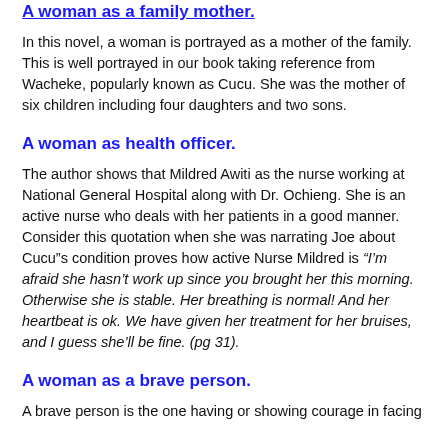A woman as a family mother.
In this novel, a woman is portrayed as a mother of the family. This is well portrayed in our book taking reference from Wacheke, popularly known as Cucu. She was the mother of six children including four daughters and two sons.
A woman as health officer.
The author shows that Mildred Awiti as the nurse working at National General Hospital along with Dr. Ochieng. She is an active nurse who deals with her patients in a good manner. Consider this quotation when she was narrating Joe about Cucu”s condition proves how active Nurse Mildred is “I’m afraid she hasn’t work up since you brought her this morning. Otherwise she is stable. Her breathing is normal! And her heartbeat is ok. We have given her treatment for her bruises, and I guess she’ll be fine. (pg 31).
A woman as a brave person.
A brave person is the one having or showing courage in facing